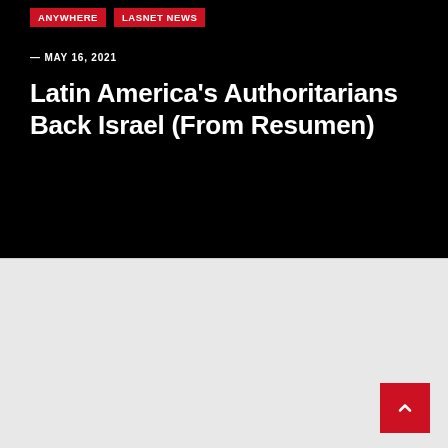ANYWHERE | LASNET NEWS
— MAY 16, 2021
Latin America's Authoritarians Back Israel (From Resumen)
FACEBOOK | YOUTUBE | INSTAGRAM | TWITTER | WHATSAPP